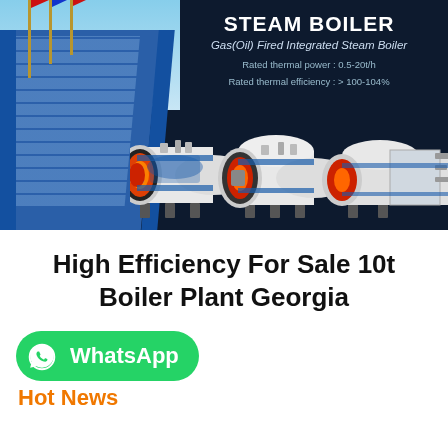[Figure (photo): Dark navy banner showing an industrial steam boiler product advertisement. Left side shows a blue modern factory building with flagpoles and flags. Right side shows text 'STEAM BOILER', subtitle 'Gas(Oil) Fired Integrated Steam Boiler', specs 'Rated thermal power: 0.5-20t/h', 'Rated thermal efficiency: > 100-104%', and three horizontal cylindrical steam boiler units with blue and white coloring, red burner front ends.]
High Efficiency For Sale 10t Boiler Plant Georgia
[Figure (logo): WhatsApp button: green rounded rectangle with WhatsApp phone icon on left and bold white text 'WhatsApp' on right.]
Hot News